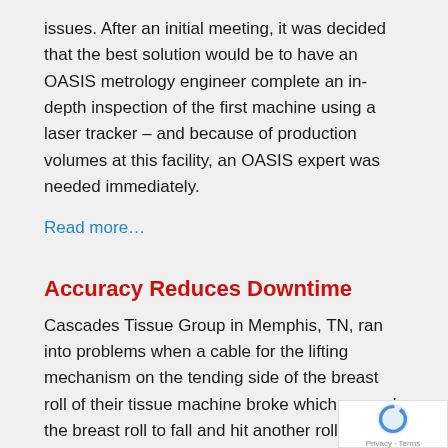issues. After an initial meeting, it was decided that the best solution would be to have an OASIS metrology engineer complete an in-depth inspection of the first machine using a laser tracker – and because of production volumes at this facility, an OASIS expert was needed immediately.
Read more…
Accuracy Reduces Downtime
Cascades Tissue Group in Memphis, TN, ran into problems when a cable for the lifting mechanism on the tending side of the breast roll of their tissue machine broke which caused the breast roll to fall and hit another roll, denting the shell of the